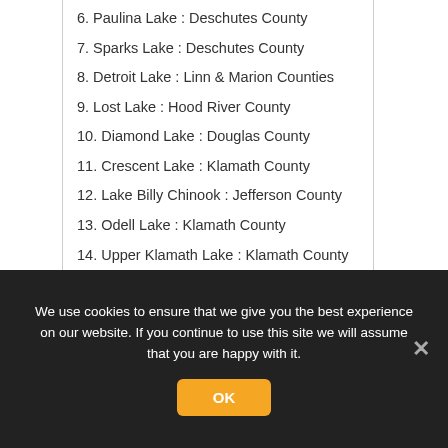6. Paulina Lake : Deschutes County
7. Sparks Lake : Deschutes County
8. Detroit Lake : Linn & Marion Counties
9. Lost Lake : Hood River County
10. Diamond Lake : Douglas County
11. Crescent Lake : Klamath County
12. Lake Billy Chinook : Jefferson County
13. Odell Lake : Klamath County
14. Upper Klamath Lake : Klamath County
15. Strawberry Lake : Grant County
Crater Lake : Klamath County
We use cookies to ensure that we give you the best experience on our website. If you continue to use this site we will assume that you are happy with it.